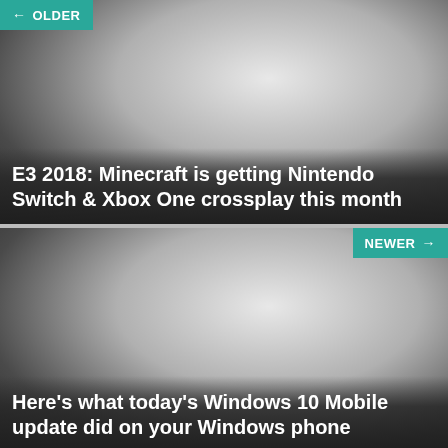← OLDER
[Figure (photo): Article thumbnail image with dark gradient overlay, grayscale photo background]
E3 2018: Minecraft is getting Nintendo Switch & Xbox One crossplay this month
NEWER →
[Figure (photo): Article thumbnail image with dark gradient overlay, grayscale photo background]
Here's what today's Windows 10 Mobile update did on your Windows phone